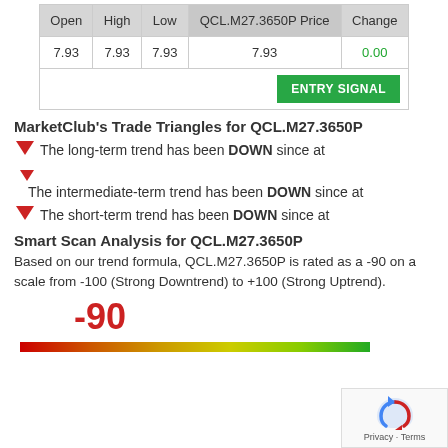| Open | High | Low | QCL.M27.3650P Price | Change |
| --- | --- | --- | --- | --- |
| 7.93 | 7.93 | 7.93 | 7.93 | 0.00 |
MarketClub's Trade Triangles for QCL.M27.3650P
The long-term trend has been DOWN since at
The intermediate-term trend has been DOWN since at
The short-term trend has been DOWN since at
Smart Scan Analysis for QCL.M27.3650P
Based on our trend formula, QCL.M27.3650P is rated as a -90 on a scale from -100 (Strong Downtrend) to +100 (Strong Uptrend).
[Figure (infographic): Score of -90 shown in large red text above a red-to-green gradient bar]